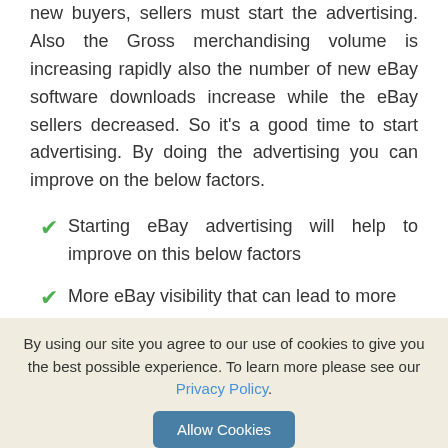new buyers, sellers must start the advertising. Also the Gross merchandising volume is increasing rapidly also the number of new eBay software downloads increase while the eBay sellers decreased. So it's a good time to start advertising. By doing the advertising you can improve on the below factors.
Starting eBay advertising will help to improve on this below factors
More eBay visibility that can lead to more
By using our site you agree to our use of cookies to give you the best possible experience. To learn more please see our Privacy Policy.